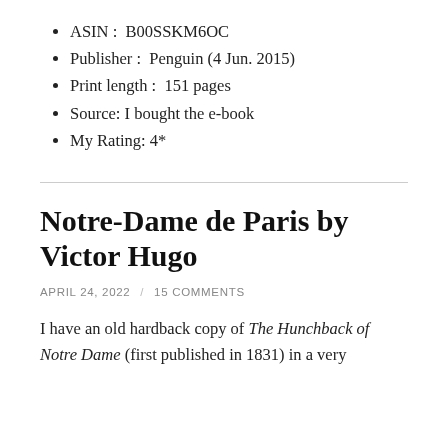ASIN : B00SSKM6OC
Publisher : Penguin (4 Jun. 2015)
Print length : 151 pages
Source: I bought the e-book
My Rating: 4*
Notre-Dame de Paris by Victor Hugo
APRIL 24, 2022 / 15 COMMENTS
I have an old hardback copy of The Hunchback of Notre Dame (first published in 1831) in a very